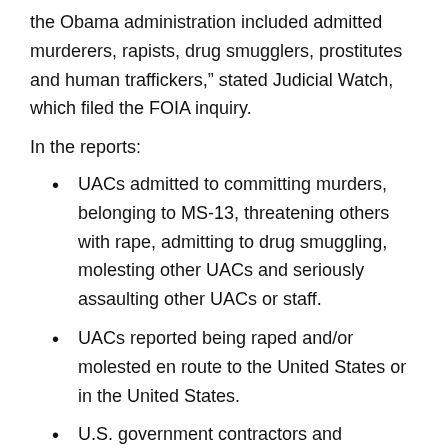the Obama administration included admitted murderers, rapists, drug smugglers, prostitutes and human traffickers," stated Judicial Watch, which filed the FOIA inquiry.
In the reports:
UACs admitted to committing murders, belonging to MS-13, threatening others with rape, admitting to drug smuggling, molesting other UACs and seriously assaulting other UACs or staff.
UACs reported being raped and/or molested en route to the United States or in the United States.
U.S. government contractors and employees